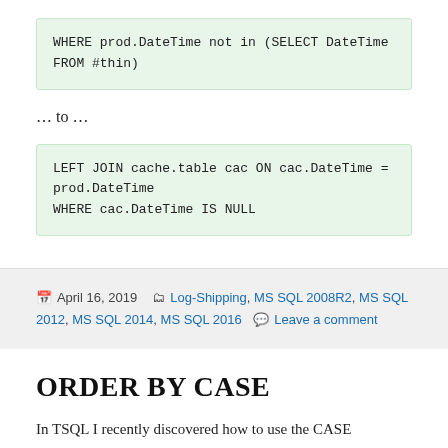… to …
April 16, 2019  Log-Shipping, MS SQL 2008R2, MS SQL 2012, MS SQL 2014, MS SQL 2016  Leave a comment
ORDER BY CASE
In TSQL I recently discovered how to use the CASE